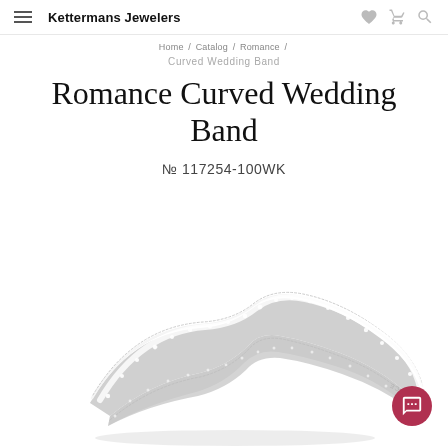Kettermans Jewelers
Home / Catalog / Romance /
Curved Wedding Band
Romance Curved Wedding Band
№ 117254-100WK
[Figure (photo): A curved diamond-encrusted wedding band ring displayed on a white background. The ring has milgrain edges and pavé-set diamonds along a curved silhouette with the word ROMANCE engraved on the inner band.]